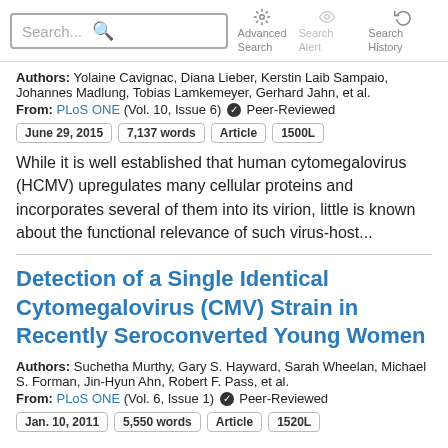Search... Advanced Search Search Alert Search History
Authors: Yolaine Cavignac, Diana Lieber, Kerstin Laib Sampaio, Johannes Madlung, Tobias Lamkemeyer, Gerhard Jahn, et al.
From: PLoS ONE (Vol. 10, Issue 6) ✔ Peer-Reviewed
June 29, 2015   7,137 words   Article   1500L
While it is well established that human cytomegalovirus (HCMV) upregulates many cellular proteins and incorporates several of them into its virion, little is known about the functional relevance of such virus-host...
Detection of a Single Identical Cytomegalovirus (CMV) Strain in Recently Seroconverted Young Women
Authors: Suchetha Murthy, Gary S. Hayward, Sarah Wheelan, Michael S. Forman, Jin-Hyun Ahn, Robert F. Pass, et al.
From: PLoS ONE (Vol. 6, Issue 1) ✔ Peer-Reviewed
Jan. 10, 2011   5,550 words   Article   1520L